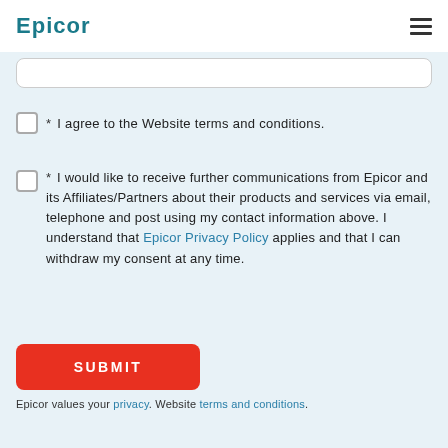epicor
* I agree to the Website terms and conditions.
* I would like to receive further communications from Epicor and its Affiliates/Partners about their products and services via email, telephone and post using my contact information above. I understand that Epicor Privacy Policy applies and that I can withdraw my consent at any time.
SUBMIT
Epicor values your privacy. Website terms and conditions.